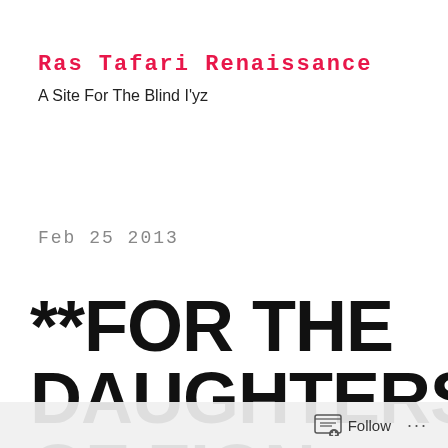Ras Tafari Renaissance
A Site For The Blind I'yz
Feb  25  2013
**FOR THE DAUGHTERS OF ZION: Shushan